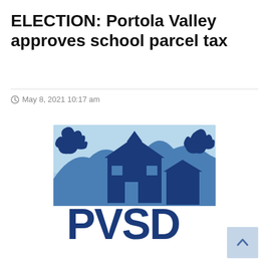ELECTION: Portola Valley approves school parcel tax
May 8, 2021 10:17 am
[Figure (logo): PVSD (Portola Valley School District) logo featuring a blue silhouette of a school building, trees, and mountains against a light blue background, with 'PVSD' text in dark blue below.]